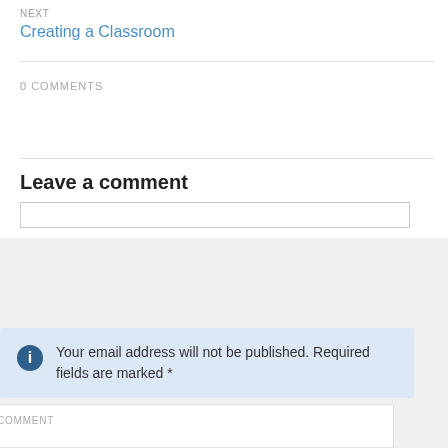NEXT
Creating a Classroom
0 COMMENTS
Leave a comment
Your email address will not be published. Required fields are marked *
COMMENT